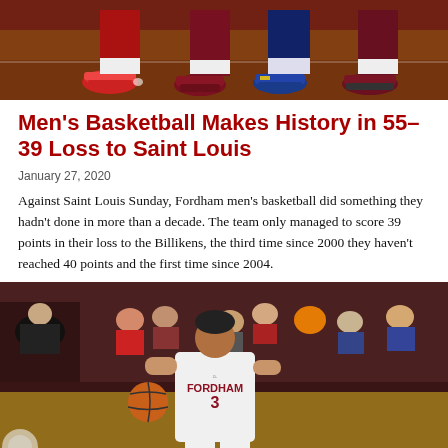[Figure (photo): Basketball players' feet and shoes on a court, showing red and maroon uniforms from above]
Men's Basketball Makes History in 55–39 Loss to Saint Louis
January 27, 2020
Against Saint Louis Sunday, Fordham men's basketball did something they hadn't done in more than a decade. The team only managed to score 39 points in their loss to the Billikens, the third time since 2000 they haven't reached 40 points and the first time since 2004.
[Figure (photo): Fordham basketball player #3 in white uniform dribbling the basketball, with fans in the background in the gym stands]